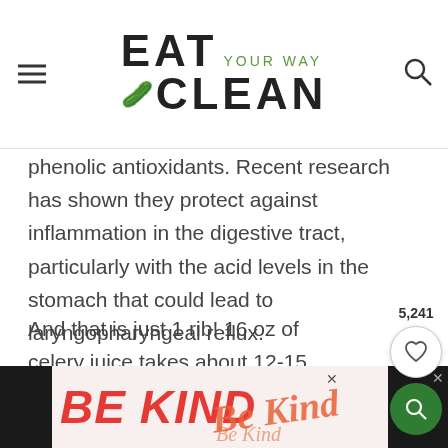EAT YOUR WAY CLEAN
phenolic antioxidants. Recent research has shown they protect against inflammation in the digestive tract, particularly with the acid levels in the stomach that could lead to laryngopharyngeal reflux.
And that is just 1 rib! 16 oz of celery juice takes about 12-15 ribs or one full stalk.
Make sure to buy organic as celery is in the
[Figure (other): BE KIND advertisement banner at bottom of page with decorative script text overlay and dark side panels]